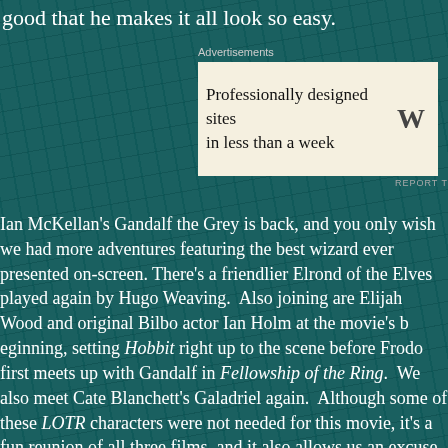good that he makes it all look so easy.
Advertisements
[Figure (screenshot): WordPress advertisement: 'Professionally designed sites in less than a week' with WordPress logo]
REPORT T
Ian McKellan's Gandalf the Grey is back, and you only wish we had more adventures featuring the best wizard ever presented on-screen. There's a friendlier Elrond of the Elves played again by Hugo Weaving. Also joining are Elijah Wood and original Bilbo actor Ian Holm at the movie's beginning, setting Hobbit right up to the scene before Frodo first meets up with Gandalf in Fellowship of the Ring. We also meet Cate Blanchett's Galadriel again. Although some of these LOTR characters were not needed for this movie, it's a fun reunion of all three films, and it also allows us an excuse to see the splendor and beauty of the sets at New Zealand's Hobbiton.
Advertisement
[Figure (screenshot): DuckDuckGo advertisement: 'Search, browse, and email with more privacy. All in One Free App' with phone image and DuckDuckGo logo]